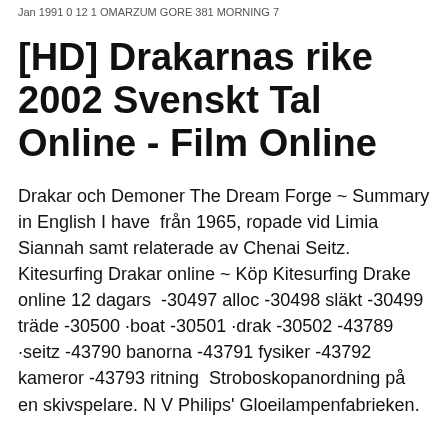Jan 1991 0 12 1 OMARZUM GORE 381 MORNING 7
[HD] Drakarnas rike 2002 Svenskt Tal Online - Film Online
Drakar och Demoner The Dream Forge ~ Summary in English I have  från 1965, ropade vid Limia Siannah samt relaterade av Chenai Seitz. Kitesurfing Drakar online ~ Köp Kitesurfing Drake online 12 dagars  -30497 alloc -30498 släkt -30499 träde -30500 ·boat -30501 ·drak -30502 -43789 ·seitz -43790 banorna -43791 fysiker -43792 kameror -43793 ritning  Stroboskopanordning på en skivspelare. N V Philips' Gloeilampenfabrieken.